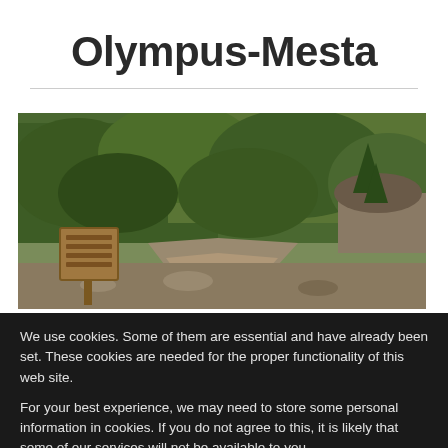Olympus-Mesta
[Figure (photo): A landscape photo showing a rocky dirt trail winding through dense green shrubs and trees. A wooden sign with text is visible on the left side of the path.]
We use cookies. Some of them are essential and have already been set. These cookies are needed for the proper functionality of this web site.
For your best experience, we may need to store some personal information in cookies. If you do not agree to this, it is likely that some of our services will not be available to you.